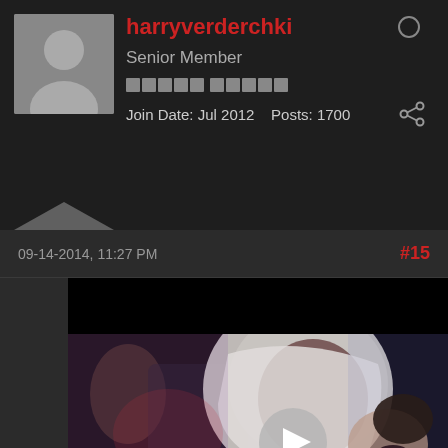harryverderchki
Senior Member
Join Date: Jul 2012   Posts: 1700
09-14-2014, 11:27 PM
#15
[Figure (screenshot): Video thumbnail showing a person wearing a white hoodie with the hood up, mouth open, with a play button overlay. The upper portion of the video has a black bar.]